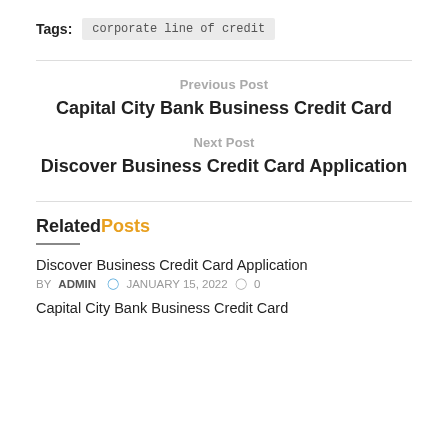Tags: corporate line of credit
Previous Post
Capital City Bank Business Credit Card
Next Post
Discover Business Credit Card Application
RelatedPosts
Discover Business Credit Card Application
BY ADMIN  JANUARY 15, 2022  0
Capital City Bank Business Credit Card